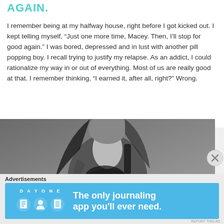AGAIN.
I remember being at my halfway house, right before I got kicked out. I kept telling myself, “Just one more time, Macey. Then, I’ll stop for good again.” I was bored, depressed and in lust with another pill popping boy. I recall trying to justify my relapse. As an addict, I could rationalize my way in or out of everything. Most of us are really good at that. I remember thinking, “I earned it, after all, right?” Wrong.
[Figure (photo): Black and white photo of a young woman with long dark hair, holding dark feathers or leaves against her chest, showing a fern tattoo on her arm.]
Advertisements
[Figure (screenshot): Advertisement for Day One journaling app with the text: The only journaling app you’ll ever need.]